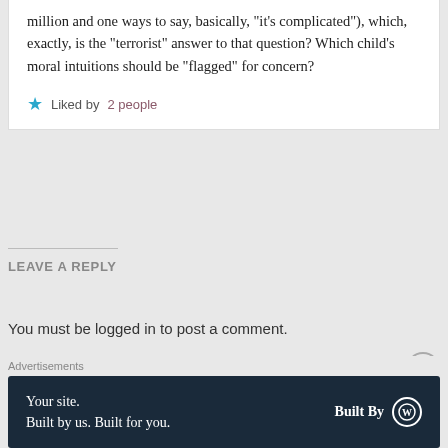million and one ways to say, basically, "it's complicated"), which, exactly, is the "terrorist" answer to that question? Which child's moral intuitions should be "flagged" for concern?
Liked by 2 people
LEAVE A REPLY
You must be logged in to post a comment.
This site uses Akismet to reduce spam. Learn how your
[Figure (infographic): WordPress advertisement banner: 'Your site. Built by us. Built for you. Built By WordPress logo']